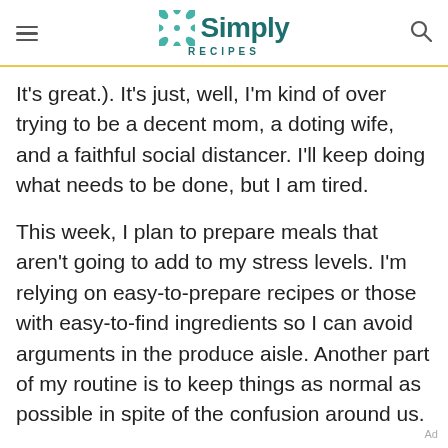Simply Recipes
It's great.). It's just, well, I'm kind of over trying to be a decent mom, a doting wife, and a faithful social distancer. I'll keep doing what needs to be done, but I am tired.
This week, I plan to prepare meals that aren't going to add to my stress levels. I'm relying on easy-to-prepare recipes or those with easy-to-find ingredients so I can avoid arguments in the produce aisle. Another part of my routine is to keep things as normal as possible in spite of the confusion around us.
Ad